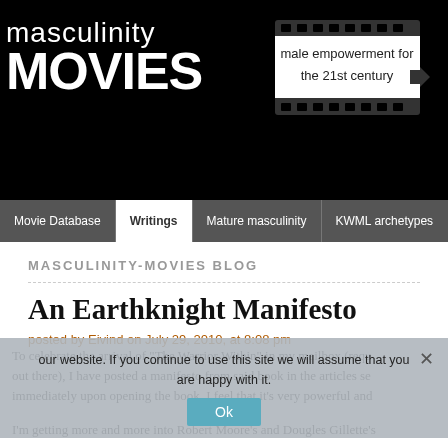[Figure (logo): Masculinity Movies website header with black background, site name 'masculinity MOVIES' in white text on left, and film strip graphic with 'male empowerment for the 21st century' text on right]
Movie Database | Writings | Mature masculinity | KWML archetypes
MASCULINITY-MOVIES BLOG
An Earthknight Manifesto
posted by Eivind on July 29, 2010, at 8:08 pm
To celebrate the arrival of "The Warrior Within" in my mailbox (requ out there), I have posted a manifesto from said book in the articles se immediately upon opening the book. I feel that it's very powerful and
I'm getting more and more into Robert Moore's and Dougles Gillette's
our website. If you continue to use this site we will assume that you are happy with it.